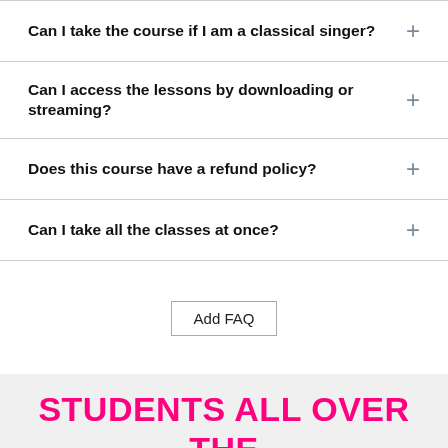Can I take the course if I am a classical singer?
Can I access the lessons by downloading or streaming?
Does this course have a refund policy?
Can I take all the classes at once?
Add FAQ
STUDENTS ALL OVER THE WORLD LOVE MAMA CHERYL